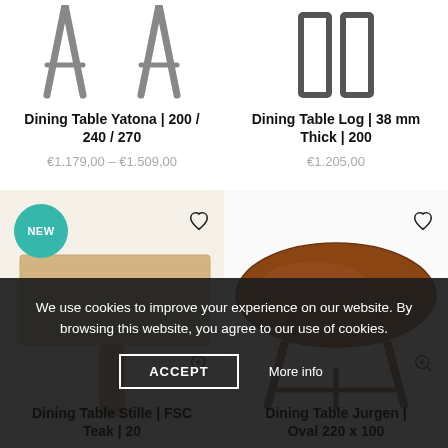[Figure (photo): Partial view of dining table legs (Yatona style, gray/dark, A-frame wooden legs), cropped at top]
Dining Table Yatona | 200 / 240 / 270
€1.179,00 – €1.509,00
[Figure (photo): Partial view of dining table legs (Log style, black rectangular metal frame legs), cropped at top]
Dining Table Log | 38 mm Thick | 200
€1.205,00
[Figure (photo): Dining table top (light teak wood, rectangular slab) on single wooden peg leg, with NEW badge, shown partially. Wishlist heart icon and zoom icon visible.]
[Figure (photo): Oval walnut-colored dining table with angled wooden legs (Jurgen style). Wishlist heart icon and zoom icon visible.]
We use cookies to improve your experience on our website. By browsing this website, you agree to our use of cookies.
ACCEPT
More info
Dining Table Stille | FSC Teak | 20
Dining Table Jurgen | Oval 220 x 100